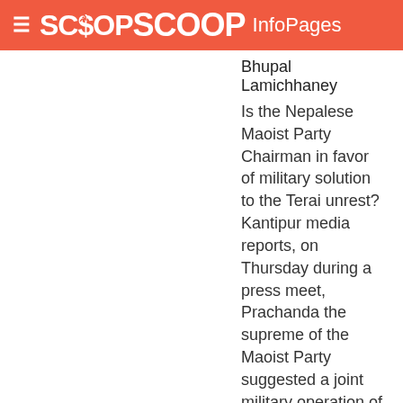SCOOP InfoPages
Bhupal Lamichhaney
Is the Nepalese Maoist Party Chairman in favor of military solution to the Terai unrest? Kantipur media reports, on Thursday during a press meet, Prachanda the supreme of the Maoist Party suggested a joint military operation of the Nepal Army and his ...
More >>
Can Terai Movement Be Identified With Atrocities?
Thursday, 1 February 2007, 12:18 am | Bhupal Lamichhaney
The on going Terai unrest in Nepal has